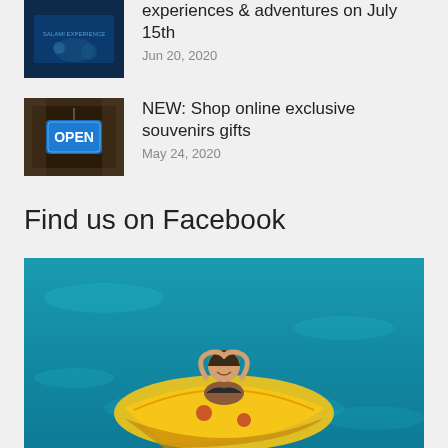[Figure (photo): Dark blue underwater or aquarium-themed image with text 'SALAMI EXPERIENCE']
experiences & adventures on July 15th
Jun 20, 2020
[Figure (photo): Photo of a blue OPEN sign hanging in a shop window]
NEW: Shop online exclusive souvenirs gifts
May 24, 2020
Find us on Facebook
[Figure (photo): Young woman floating on a yellow inflatable pizza slice in blue pool water, making a heart shape with her hands above her head]